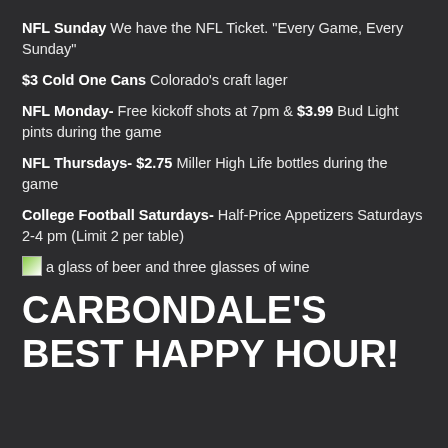NFL Sunday We have the NFL Ticket. "Every Game, Every Sunday"
$3 Cold One Cans Colorado's craft lager
NFL Monday- Free kickoff shots at 7pm & $3.99 Bud Light pints during the game
NFL Thursdays- $2.75 Miller High Life bottles during the game
College Football Saturdays- Half-Price Appetizers Saturdays 2-4 pm (Limit 2 per table)
[Figure (photo): a glass of beer and three glasses of wine]
CARBONDALE'S BEST HAPPY HOUR!